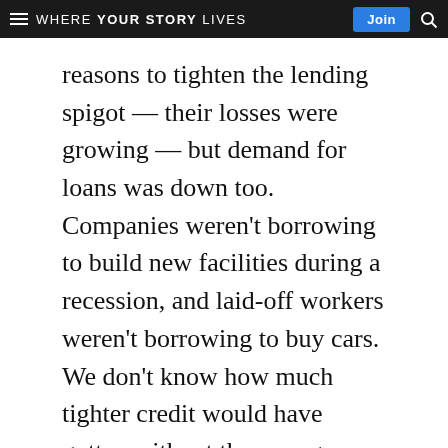WHERE YOUR STORY LIVES | Join
reasons to tighten the lending spigot — their losses were growing — but demand for loans was down too. Companies weren't borrowing to build new facilities during a recession, and laid-off workers weren't borrowing to buy cars. We don't know how much tighter credit would have gotten without the emergency aid.
This website stores data such as cookies to enable essential site functionality, as well as marketing, personalization, and analytics. By remaining on this website you indicate your consent. Privacy Policy